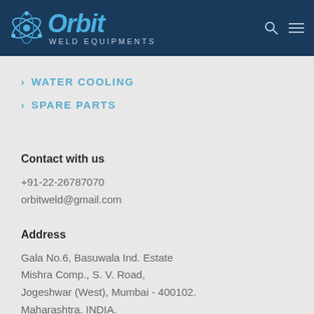Orbit Weld Equipments
WATER COOLING
SPARE PARTS
Contact with us
+91-22-26787070
orbitweld@gmail.com
Address
Gala No.6, Basuwala Ind. Estate
Mishra Comp., S. V. Road,
Jogeshwar (West), Mumbai - 400102.
Maharashtra. INDIA.